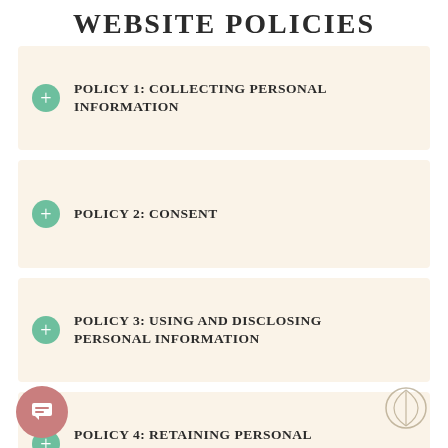WEBSITE POLICIES
POLICY 1: COLLECTING PERSONAL INFORMATION
POLICY 2: CONSENT
POLICY 3: USING AND DISCLOSING PERSONAL INFORMATION
POLICY 4: RETAINING PERSONAL INFORMATION